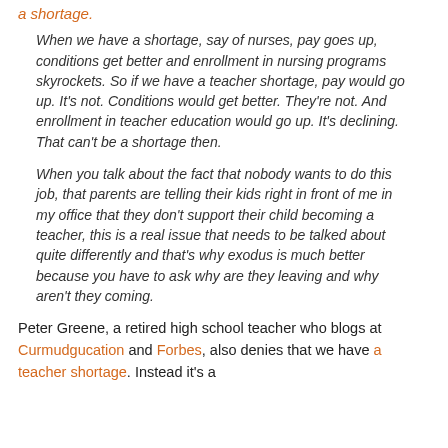a shortage.
When we have a shortage, say of nurses, pay goes up, conditions get better and enrollment in nursing programs skyrockets. So if we have a teacher shortage, pay would go up. It's not. Conditions would get better. They're not. And enrollment in teacher education would go up. It's declining. That can't be a shortage then.
When you talk about the fact that nobody wants to do this job, that parents are telling their kids right in front of me in my office that they don't support their child becoming a teacher, this is a real issue that needs to be talked about quite differently and that's why exodus is much better because you have to ask why are they leaving and why aren't they coming.
Peter Greene, a retired high school teacher who blogs at Curmudgucation and Forbes, also denies that we have a teacher shortage. Instead it's a